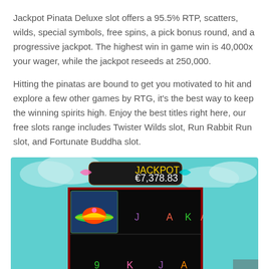Jackpot Pinata Deluxe slot offers a 95.5% RTP, scatters, wilds, special symbols, free spins, a pick bonus round, and a progressive jackpot. The highest win in game win is 40,000x your wager, while the jackpot reseeds at 250,000.
Hitting the pinatas are bound to get you motivated to hit and explore a few other games by RTG, it's the best way to keep the winning spirits high. Enjoy the best titles right here, our free slots range includes Twister Wilds slot, Run Rabbit Run slot, and Fortunate Buddha slot.
[Figure (screenshot): Screenshot of Jackpot Pinata Deluxe slot game showing jackpot amount of €7,378.83 with colorful card symbols J, A, K, A in top row and 9, K, J, A, 9 in bottom row on a dark game board with teal sky background.]